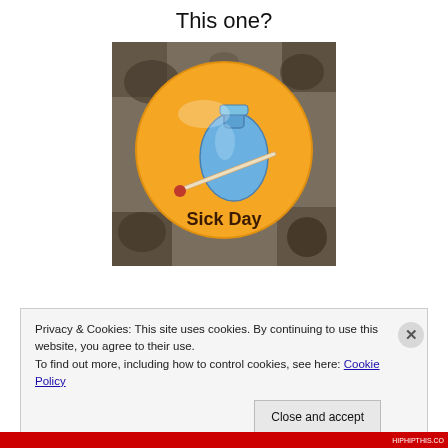This one?
[Figure (photo): A round orange button/badge with an illustration of a blue hot water bottle and a thermometer, with the text 'Sick Day' printed on it, photographed on a granite surface.]
Privacy & Cookies: This site uses cookies. By continuing to use this website, you agree to their use.
To find out more, including how to control cookies, see here: Cookie Policy
Close and accept